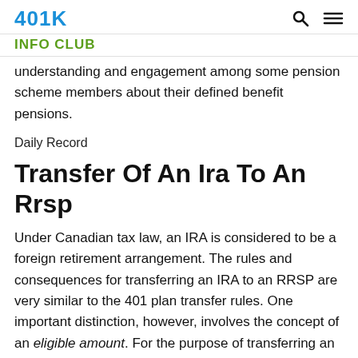401K INFO CLUB
understanding and engagement among some pension scheme members about their defined benefit pensions.
Daily Record
Transfer Of An Ira To An Rrsp
Under Canadian tax law, an IRA is considered to be a foreign retirement arrangement. The rules and consequences for transferring an IRA to an RRSP are very similar to the 401 plan transfer rules. One important distinction, however, involves the concept of an eligible amount. For the purpose of transferring an amount from an IRA to an RRSP, an